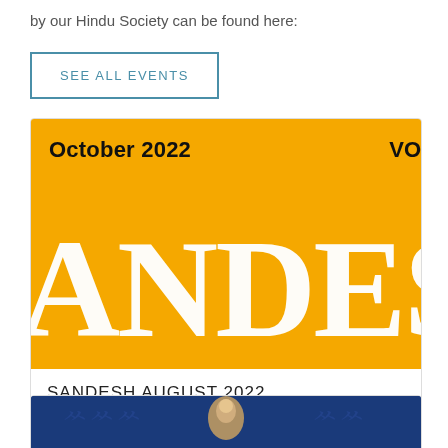by our Hindu Society can be found here:
SEE ALL EVENTS
[Figure (illustration): Yellow banner image showing 'October 2022' and 'VO' text at top, large white decorative text 'ANDES' across the bottom, Sandesh newsletter cover]
SANDESH AUGUST 2022
AUGUST 19, 2022
[Figure (photo): Partial view of a blue background image showing a Hindu temple deity decorated with garlands, visible at bottom of page]